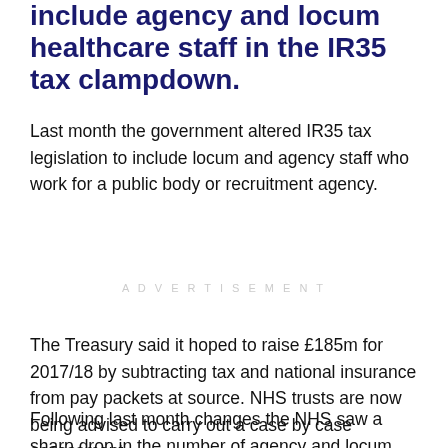include agency and locum healthcare staff in the IR35 tax clampdown.
Last month the government altered IR35 tax legislation to include locum and agency staff who work for a public body or recruitment agency.
ADVERTISEMENT
The Treasury said it hoped to raise £185m for 2017/18 by subtracting tax and national insurance from pay packets at source. NHS trusts are now being advised to carry out a case by case assessment.
Following last month changes the NHS saw a sharp drop in the number of agency and locum staff willing to work for the NHS. Subsequently NHSI has declared